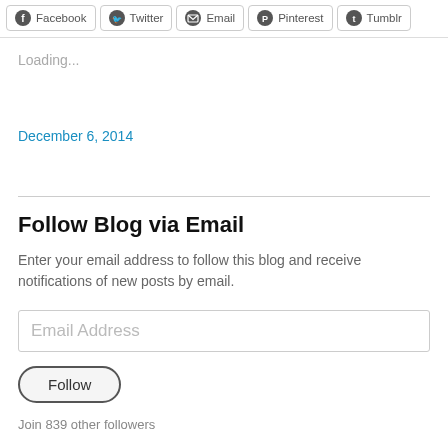[Figure (other): Row of social share buttons: Facebook, Twitter, Email, Pinterest, Tumblr]
Loading...
December 6, 2014
Follow Blog via Email
Enter your email address to follow this blog and receive notifications of new posts by email.
Email Address
Follow
Join 839 other followers